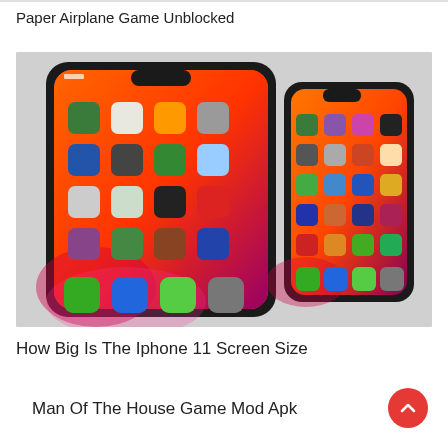Paper Airplane Game Unblocked
[Figure (photo): Two iPhones side by side on a white surface, both displaying colorful home screens with app icons on orange/red iOS 13 wallpapers. The left phone is larger than the right phone.]
How Big Is The Iphone 11 Screen Size
Man Of The House Game Mod Apk